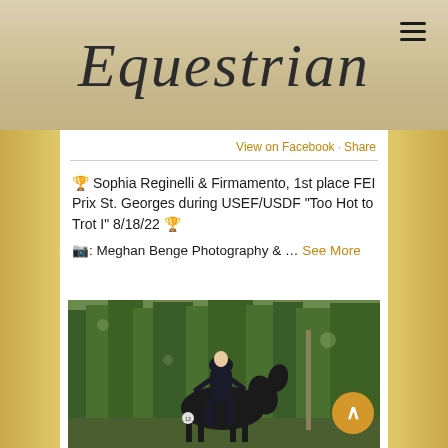Equestrian
View on Facebook · Share
🏆 Sophia Reginelli & Firmamento, 1st place FEI Prix St. Georges during USEF/USDF "Too Hot to Trot I" 8/18/22 🏆
📷: Meghan Benge Photography & ... See More
[Figure (photo): Equestrian rider in black jacket and helmet riding a dark horse at an outdoor dressage competition, with green trees in the background.]